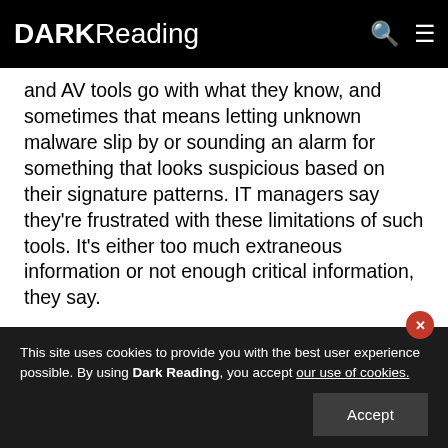DARK Reading
and AV tools go with what they know, and sometimes that means letting unknown malware slip by or sounding an alarm for something that looks suspicious based on their signature patterns. IT managers say they're frustrated with these limitations of such tools. It's either too much extraneous information or not enough critical information, they say.
The main problem, security experts say, is false expectations on the part of users for just what their security tools can do. "Security products on their best day are only 50 percent solutions out of the box," says
This site uses cookies to provide you with the best user experience possible. By using Dark Reading, you accept our use of cookies.